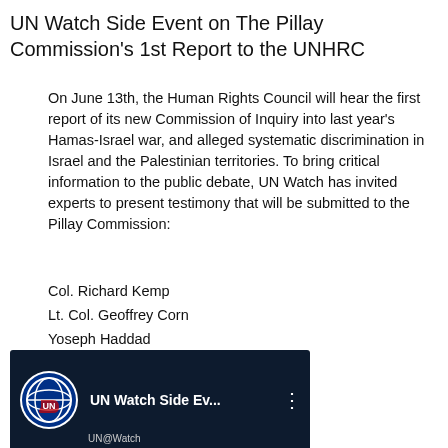UN Watch Side Event on The Pillay Commission's 1st Report to the UNHRC
On June 13th, the Human Rights Council will hear the first report of its new Commission of Inquiry into last year's Hamas-Israel war, and alleged systematic discrimination in Israel and the Palestinian territories. To bring critical information to the public debate, UN Watch has invited experts to present testimony that will be submitted to the Pillay Commission:
Col. Richard Kemp
Lt. Col. Geoffrey Corn
Yoseph Haddad
Anne Herzberg
Olga Meshoe-Washington
Dr. Einat Wilf
[Figure (screenshot): YouTube video thumbnail showing UN Watch logo and title 'UN Watch Side Ev...' with UN Watch channel branding on dark navy background]